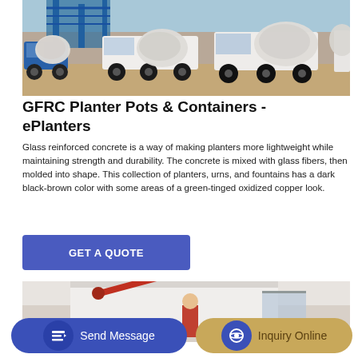[Figure (photo): Several white concrete mixer trucks parked at a construction/industrial site with blue steel framework structures in the background and blue sky.]
GFRC Planter Pots & Containers - ePlanters
Glass reinforced concrete is a way of making planters more lightweight while maintaining strength and durability. The concrete is mixed with glass fibers, then molded into shape. This collection of planters, urns, and fountains has a dark black-brown color with some areas of a green-tinged oxidized copper look.
[Figure (other): Button labeled GET A QUOTE in white text on blue background]
[Figure (photo): Partial view of a construction scene, bottom of page]
[Figure (other): Bottom bar with Send Message button (blue rounded) and Inquiry Online button (tan/gold rounded)]